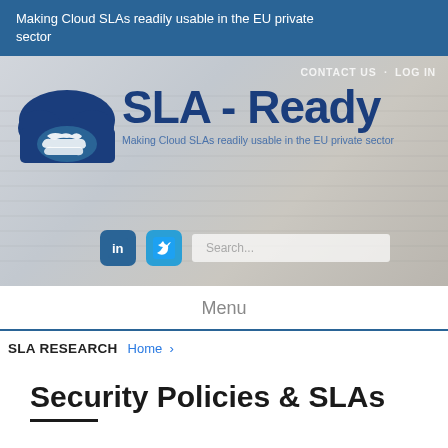Making Cloud SLAs readily usable in the EU private sector
[Figure (screenshot): SLA-Ready website hero banner with logo (cloud + handshake icon), tagline 'Making Cloud SLAs readily usable in the EU private sector', CONTACT US and LOG IN navigation links, LinkedIn and Twitter social icons, and a search box]
Menu
SLA RESEARCH
Home ›
Security Policies & SLAs